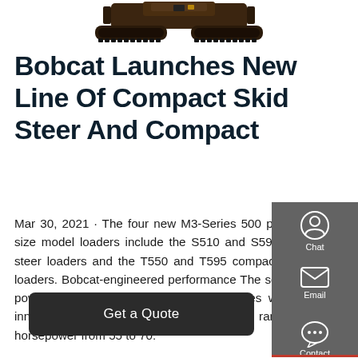[Figure (photo): Top portion of a Bobcat compact track loader / machine viewed from above, showing tracks and body in dark brown/black color]
Bobcat Launches New Line Of Compact Skid Steer And Compact
Mar 30, 2021 · The four new M3-Series 500 platform size model loaders include the S510 and S590 skid-steer loaders and the T550 and T595 compact track loaders. Bobcat-engineered performance The series is powered by 2.4-liter Tier 4 Bobcat engines with an innovative new fuel system, offering a range of horsepower from 55 to 70.
[Figure (infographic): Dark gray sidebar panel with Chat (headset icon), Email (envelope icon), and Contact (speech bubble icon) buttons]
Get a Quote